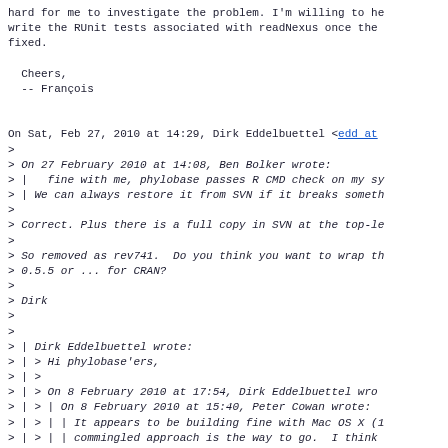hard for me to investigate the problem. I'm willing to he write the RUnit tests associated with readNexus once the fixed.

  Cheers,
  -- François


On Sat, Feb 27, 2010 at 14:29, Dirk Eddelbuettel <edd at
>
> On 27 February 2010 at 14:08, Ben Bolker wrote:
> |   fine with me, phylobase passes R CMD check on my sy
> | We can always restore it from SVN if it breaks someth
>
> Correct. Plus there is a full copy in SVN at the top-le
>
> So removed as rev741.  Do you think you want to wrap th
> 0.5.5 or ... for CRAN?
>
> Dirk
>
>
> | Dirk Eddelbuettel wrote:
> | > Hi phylobase'ers,
> | >
> | > On 8 February 2010 at 17:54, Dirk Eddelbuettel wro
> | > | On 8 February 2010 at 15:40, Peter Cowan wrote:
> | > | | It appears to be building fine with Mac OS X (1
> | > | | commingled approach is the way to go.  I think
> | > | | our users best.  In fact, I tried it months ago